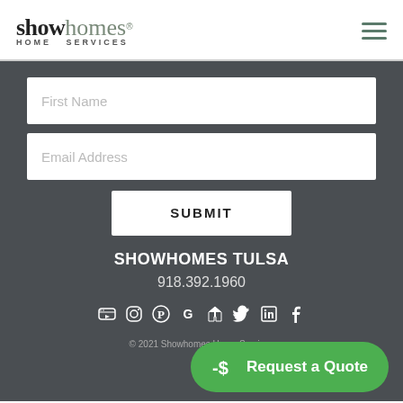[Figure (logo): Showhomes Home Services logo with hamburger menu icon]
First Name
Email Address
SUBMIT
SHOWHOMES TULSA
918.392.1960
[Figure (infographic): Social media icons row: YouTube, Instagram, Pinterest, Google, Houzz, Twitter, LinkedIn, Facebook]
© 2021 Showhomes Home Services
Request a Quote